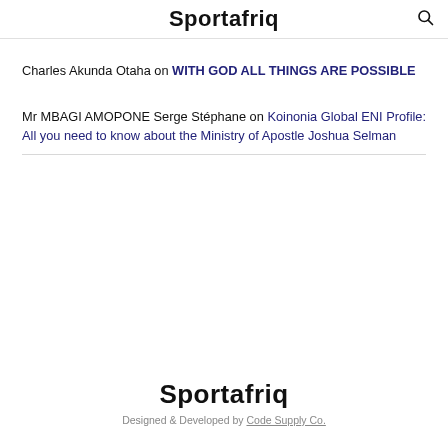Sportafriq
Charles Akunda Otaha on WITH GOD ALL THINGS ARE POSSIBLE
Mr MBAGI AMOPONE Serge Stéphane on Koinonia Global ENI Profile: All you need to know about the Ministry of Apostle Joshua Selman
Sportafriq
Designed & Developed by Code Supply Co.